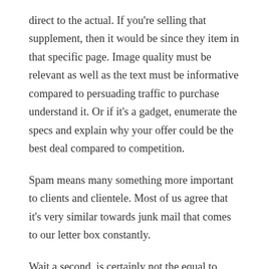direct to the actual. If you're selling that supplement, then it would be since they item in that specific page. Image quality must be relevant as well as the text must be informative compared to persuading traffic to purchase understand it. Or if it's a gadget, enumerate the specs and explain why your offer could be the best deal compared to competition.
Spam means many something more important to clients and clientele. Most of us agree that it's very similar towards junk mail that comes to our letter box constantly.
Wait a second, is certainly not the equal to Internet Marketing strategies? Not quite, DIGITAL MARKETING also involves marketing to devices not connected towards internet, regarding example television and cellphones.
SEO: Msn search optimization (SEO) is technique of improving the visibility in a website or a web page in some research engine's organic or un-paid search results. Very few people look beyond 1st